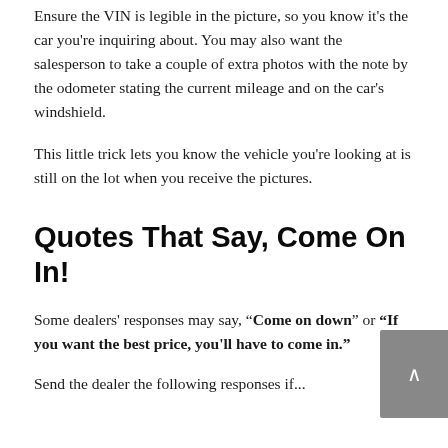Ensure the VIN is legible in the picture, so you know it's the car you're inquiring about. You may also want the salesperson to take a couple of extra photos with the note by the odometer stating the current mileage and on the car's windshield.
This little trick lets you know the vehicle you're looking at is still on the lot when you receive the pictures.
Quotes That Say, Come On In!
Some dealers' responses may say, "Come on down" or "If you want the best price, you'll have to come in."
Send the dealer the following responses if...